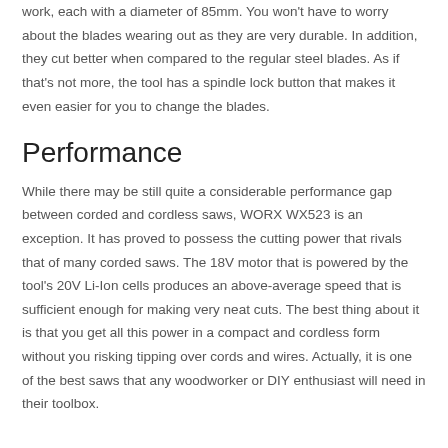work, each with a diameter of 85mm. You won't have to worry about the blades wearing out as they are very durable. In addition, they cut better when compared to the regular steel blades. As if that's not more, the tool has a spindle lock button that makes it even easier for you to change the blades.
Performance
While there may be still quite a considerable performance gap between corded and cordless saws, WORX WX523 is an exception. It has proved to possess the cutting power that rivals that of many corded saws. The 18V motor that is powered by the tool's 20V Li-Ion cells produces an above-average speed that is sufficient enough for making very neat cuts. The best thing about it is that you get all this power in a compact and cordless form without you risking tipping over cords and wires. Actually, it is one of the best saws that any woodworker or DIY enthusiast will need in their toolbox.